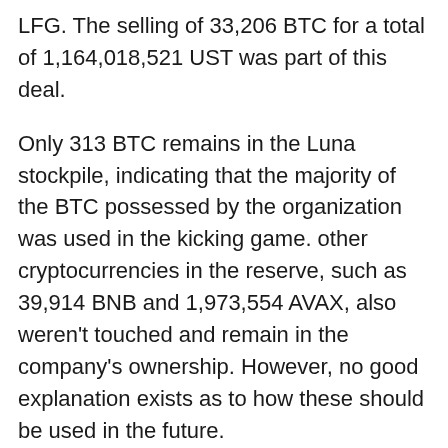LFG. The selling of 33,206 BTC for a total of 1,164,018,521 UST was part of this deal.
Only 313 BTC remains in the Luna stockpile, indicating that the majority of the BTC possessed by the organization was used in the kicking game. other cryptocurrencies in the reserve, such as 39,914 BNB and 1,973,554 AVAX, also weren't touched and remain in the company's ownership. However, no good explanation exists as to how these should be used in the future.
The LFG disclosures provide light on how the Terra de-peg affair occurred and how the resources were used. Elliptic, a blockchain analytics and compliance firm, did an earlier investigation of the transactions and discovered that the majority of the cash were routed towards exchange platforms: